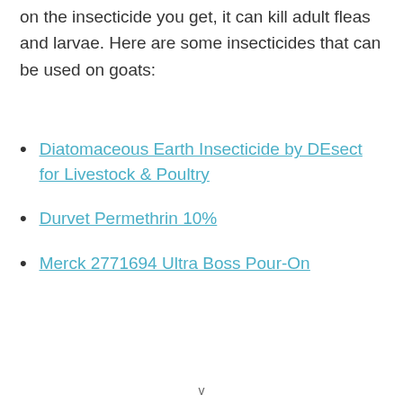on the insecticide you get, it can kill adult fleas and larvae. Here are some insecticides that can be used on goats:
Diatomaceous Earth Insecticide by DEsect for Livestock & Poultry
Durvet Permethrin 10%
Merck 2771694 Ultra Boss Pour-On
v